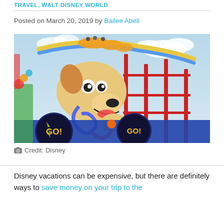TRAVEL, WALT DISNEY WORLD
Posted on March 20, 2019 by Bailee Abell
[Figure (photo): Slinky Dog Dash roller coaster ride at Walt Disney World's Toy Story Land, featuring a large Slinky Dog character at the front of the ride vehicle, with colorful 'GO!' signs and red track structure in the background.]
Credit: Disney
Disney vacations can be expensive, but there are definitely ways to save money on your trip to the